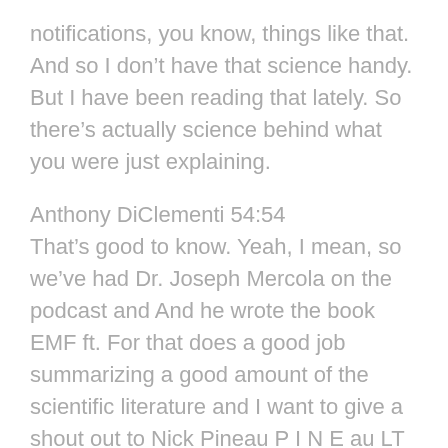notifications, you know, things like that. And so I don’t have that science handy. But I have been reading that lately. So there’s actually science behind what you were just explaining.
Anthony DiClementi 54:54
That’s good to know. Yeah, I mean, so we’ve had Dr. Joseph Mercola on the podcast and And he wrote the book EMF ft. For that does a good job summarizing a good amount of the scientific literature and I want to give a shout out to Nick Pineau P I N E au LT who wrote the non tinfoil guide to EMF who’s who’s also been a guest on the podcasts because those, those guys both did a lot to help